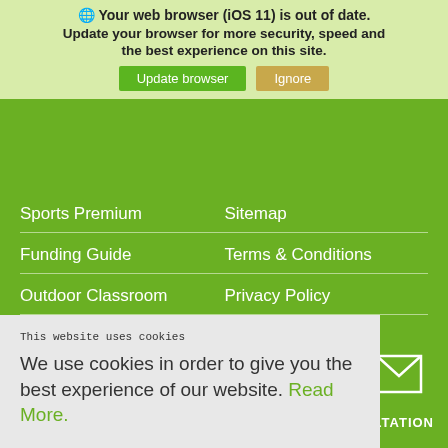Your web browser (iOS 11) is out of date. Update your browser for more security, speed and the best experience on this site.
Update browser | Ignore
Blog
Mile a day
Sports Premium
Sitemap
Funding Guide
Terms & Conditions
Outdoor Classroom
Privacy Policy
Details
14 Hinwick Road
Wollaston
Northamptonshire
This website uses cookies
We use cookies in order to give you the best experience of our website. Read More.
SULTATION